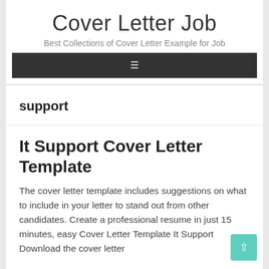Cover Letter Job
Best Collections of Cover Letter Example for Job
support
It Support Cover Letter Template
The cover letter template includes suggestions on what to include in your letter to stand out from other candidates. Create a professional resume in just 15 minutes, easy Cover Letter Template It Support Download the cover letter